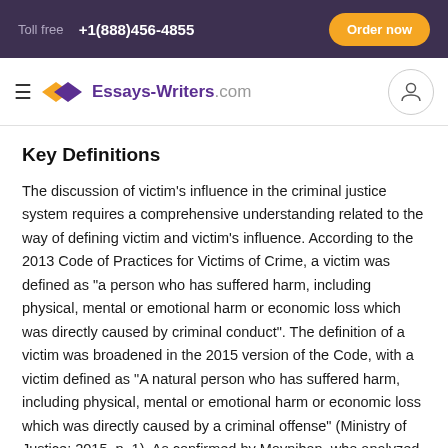Toll free +1(888)456-4855 | Order now
Essays-Writers.com
Key Definitions
The discussion of victim’s influence in the criminal justice system requires a comprehensive understanding related to the way of defining victim and victim’s influence. According to the 2013 Code of Practices for Victims of Crime, a victim was defined as “a person who has suffered harm, including physical, mental or emotional harm or economic loss which was directly caused by criminal conduct”. The definition of a victim was broadened in the 2015 version of the Code, with a victim defined as “A natural person who has suffered harm, including physical, mental or emotional harm or economic loss which was directly caused by a criminal offense” (Ministry of Justice: 2015, p. 1). As confirmed by Moynihan, who analyzed the current legislation about victim’s